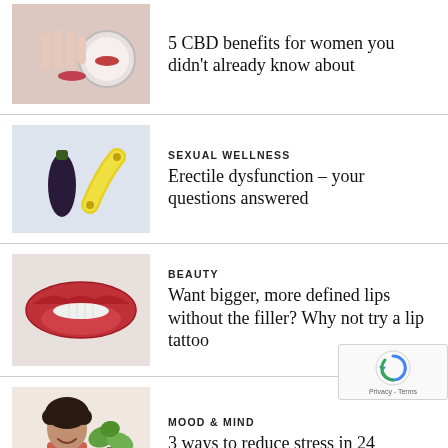[Figure (photo): Person looking in a small round mirror, close-up of lips and hand]
5 CBD benefits for women you didn't already know about
[Figure (photo): An eggplant and a banana on light background]
SEXUAL WELLNESS
Erectile dysfunction – your questions answered
[Figure (photo): Close-up of a woman's lips with dark red lipstick]
BEAUTY
Want bigger, more defined lips without the filler? Why not try a lip tattoo
[Figure (photo): Woman with curly hair smiling, plant in background]
MOOD & MIND
3 ways to reduce stress in 24